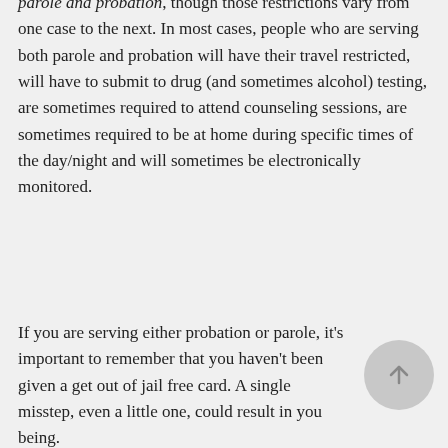parole and probation, though those restrictions vary from one case to the next. In most cases, people who are serving both parole and probation will have their travel restricted, will have to submit to drug (and sometimes alcohol) testing, are sometimes required to attend counseling sessions, are sometimes required to be at home during specific times of the day/night and will sometimes be electronically monitored.
If you are serving either probation or parole, it's important to remember that you haven't been given a get out of jail free card. A single misstep, even a little one, could result in you being.